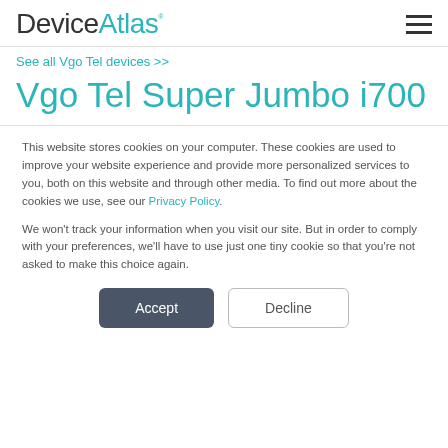DeviceAtlas
See all Vgo Tel devices >>
Vgo Tel Super Jumbo i700
This website stores cookies on your computer. These cookies are used to improve your website experience and provide more personalized services to you, both on this website and through other media. To find out more about the cookies we use, see our Privacy Policy.
We won't track your information when you visit our site. But in order to comply with your preferences, we'll have to use just one tiny cookie so that you're not asked to make this choice again.